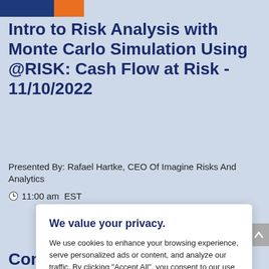[Figure (logo): Blue and orange color block header logo/banner strip]
Intro to Risk Analysis with Monte Carlo Simulation Using @RISK: Cash Flow at Risk - 11/10/2022
Presented By: Rafael Hartke, CEO Of Imagine Risks And Analytics
11:00 am  EST
We value your privacy.
We use cookies to enhance your browsing experience, serve personalized ads or content, and analyze our traffic. By clicking "Accept All", you consent to our use of cookies. Read More
Commodities - 11/22/2022